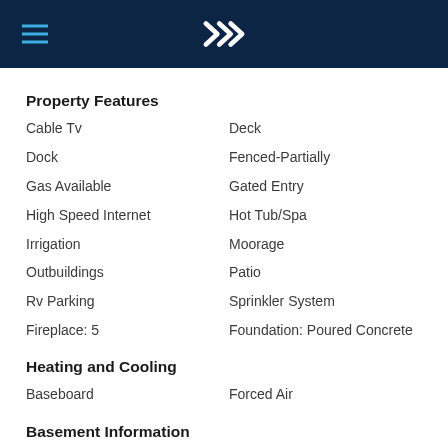[Logo: Windermere/Real Estate brand] with hamburger menu
Property Features
Cable Tv
Deck
Dock
Fenced-Partially
Gas Available
Gated Entry
High Speed Internet
Hot Tub/Spa
Irrigation
Moorage
Outbuildings
Patio
Rv Parking
Sprinkler System
Fireplace: 5
Foundation: Poured Concrete
Heating and Cooling
Baseboard
Forced Air
Basement Information
Daylight
Finished